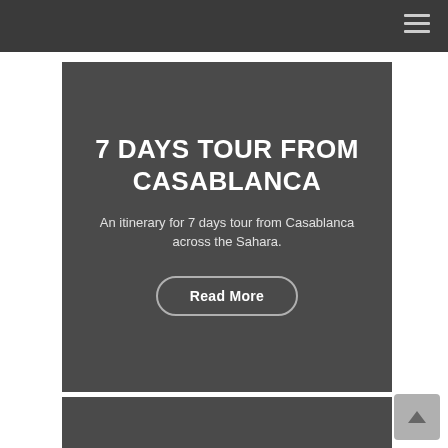7 DAYS TOUR FROM CASABLANCA
An itinerary for 7 days tour from Casablanca across the Sahara.
Read More